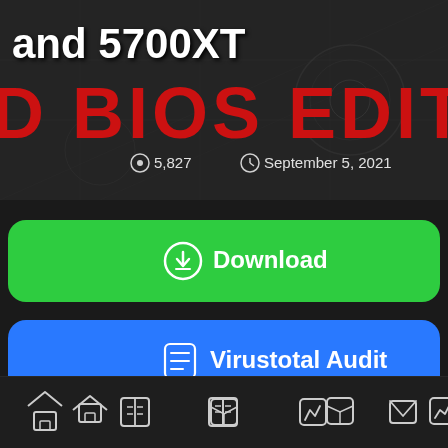[Figure (screenshot): Hero banner showing 'and 5700XT' title text in white and 'D BIOS EDITOR' in large red bold letters on dark background with circuit board overlay, with view count 5,827 and date September 5, 2021]
⊙ 5,827  🕐 September 5, 2021
[Figure (other): Green Download button with download icon]
[Figure (other): Blue Virustotal Audit button with checklist icon]
[Figure (other): Bottom navigation bar with home, book, box, chart, and envelope icons]